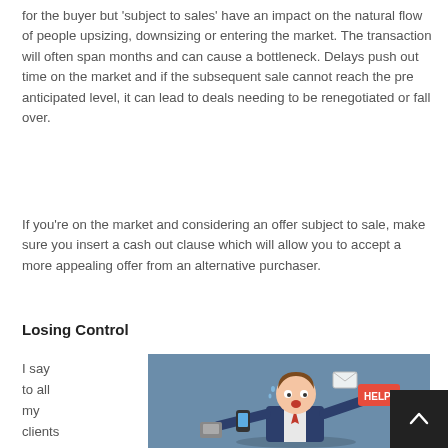for the buyer but 'subject to sales' have an impact on the natural flow of people upsizing, downsizing or entering the market. The transaction will often span months and can cause a bottleneck. Delays push out time on the market and if the subsequent sale cannot reach the pre anticipated level, it can lead to deals needing to be renegotiated or fall over.
If you're on the market and considering an offer subject to sale, make sure you insert a cash out clause which will allow you to accept a more appealing offer from an alternative purchaser.
Losing Control
I say to all my clients
[Figure (illustration): Cartoon illustration of a stressed businessman with wide eyes holding multiple items including a phone, papers, and a 'HELP!' sign, set against a blue-grey background.]